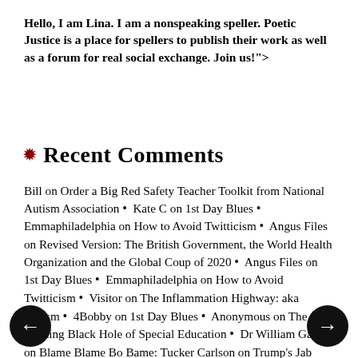Hello, I am Lina. I am a nonspeaking speller. Poetic Justice is a place for spellers to publish their work as well as a forum for real social exchange. Join us!">
Recent Comments
Bill on Order a Big Red Safety Teacher Toolkit from National Autism Association • Kate C on 1st Day Blues • Emmaphiladelphia on How to Avoid Twitticism • Angus Files on Revised Version: The British Government, the World Health Organization and the Global Coup of 2020 • Angus Files on 1st Day Blues • Emmaphiladelphia on How to Avoid Twitticism • Visitor on The Inflammation Highway: aka Autism • 4Bobby on 1st Day Blues • Anonymous on The Funding Black Hole of Special Education • Dr William Gaunt on Blame Blame Bo Bame: Tucker Carlson on Trump's Jab